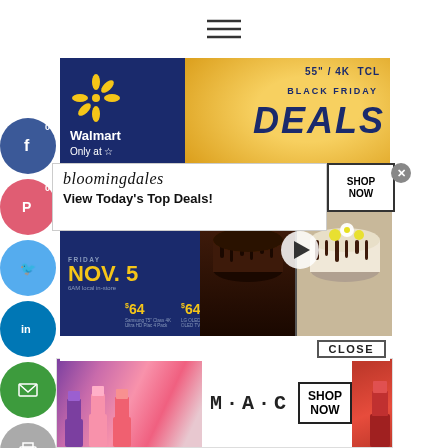[Figure (screenshot): Hamburger menu icon (three horizontal lines) at top center of page]
[Figure (screenshot): Social media share buttons sidebar on left: Facebook (0), Pinterest (0), Twitter, LinkedIn, Email, Print]
[Figure (screenshot): Walmart Black Friday Deals advertisement banner showing 55 inch 4K TCL TV, $228 price, Nov. 3 and Nov. 5 sale dates with prices $64, $64, $45]
[Figure (screenshot): Bloomingdale's ad overlay with logo and 'View Today's Top Deals!' text, SHOP NOW button]
[Figure (screenshot): Chocolate cake video thumbnail showing two decorated cakes side by side with play button]
[Figure (screenshot): CLOSE button bar]
[Figure (screenshot): M·A·C cosmetics advertisement showing colorful lipsticks and SHOP NOW button]